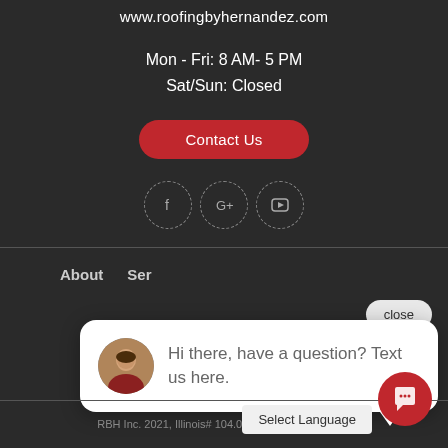www.roofingbyhernandez.com
Mon - Fri: 8 AM- 5 PM
Sat/Sun: Closed
Contact Us
[Figure (other): Social media icons: Facebook, Google+, YouTube in dashed circle borders]
close
About   Ser
[Figure (other): Chat popup with avatar photo and message: Hi there, have a question? Text us here.]
RBH Inc. 2021, Illinois# 104.017027 | TCG# 099146
Select Language